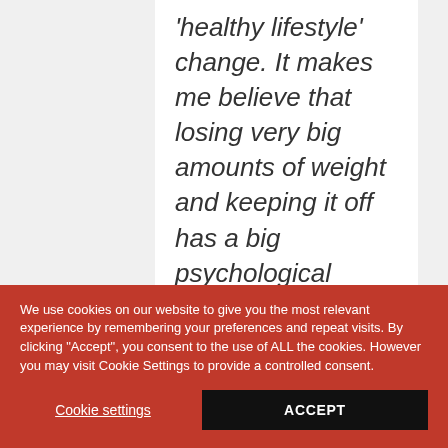'healthy lifestyle' change. It makes me believe that losing very big amounts of weight and keeping it off has a big psychological
We use cookies on our website to give you the most relevant experience by remembering your preferences and repeat visits. By clicking "Accept", you consent to the use of ALL the cookies. However you may visit Cookie Settings to provide a controlled consent.